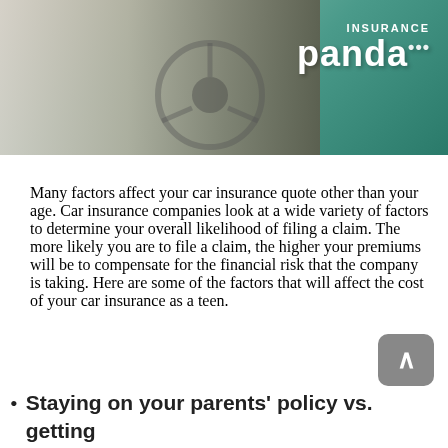[Figure (photo): Person sitting in a car holding the steering wheel, with Insurance Panda logo in the top right corner. Teal/green toned background.]
Many factors affect your car insurance quote other than your age. Car insurance companies look at a wide variety of factors to determine your overall likelihood of filing a claim. The more likely you are to file a claim, the higher your premiums will be to compensate for the financial risk that the company is taking. Here are some of the factors that will affect the cost of your car insurance as a teen.
Staying on your parents' policy vs. getting